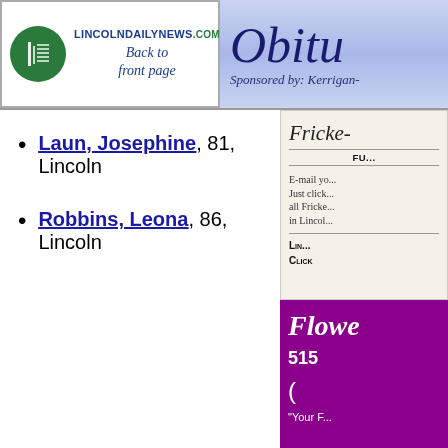LINCOLNDAILYNEWS.COM Back to front page
Obituaries Sponsored by: Kerrigan-
Laun, Josephine, 81, Lincoln
Robbins, Leona, 86, Lincoln
[Figure (other): Fricke funeral home advertisement with italic script logo, FU... heading, email contact text, Lincoln location note]
[Figure (other): Flower shop advertisement on purple background with phone number 515 and tagline Your F...]